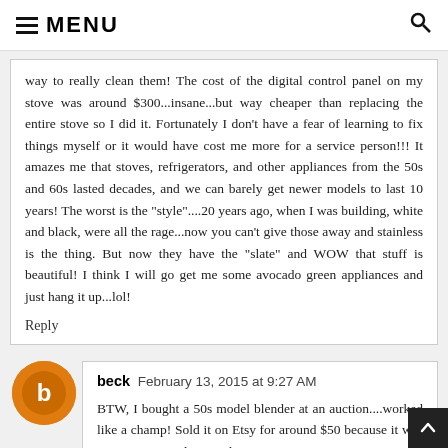≡ MENU
way to really clean them! The cost of the digital control panel on my stove was around $300...insane...but way cheaper than replacing the entire stove so I did it. Fortunately I don't have a fear of learning to fix things myself or it would have cost me more for a service person!!! It amazes me that stoves, refrigerators, and other appliances from the 50s and 60s lasted decades, and we can barely get newer models to last 10 years! The worst is the "style"....20 years ago, when I was building, white and black, were all the rage...now you can't give those away and stainless is the thing. But now they have the "slate" and WOW that stuff is beautiful! I think I will go get me some avocado green appliances and just hang it up...lol!
Reply
beck  February 13, 2015 at 9:27 AM
BTW, I bought a 50s model blender at an auction....worked like a champ! Sold it on Etsy for around $50 because it was "retro." Yesterday I threw away TWO newer model blenders because the plastic pieces broke on one and the other just wouldn't "blend." Brian found some of the plastic in his